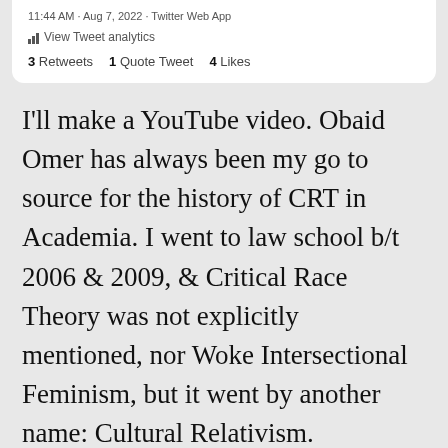11:44 AM · Aug 7, 2022 · Twitter Web App
View Tweet analytics
3 Retweets   1 Quote Tweet   4 Likes
I'll make a YouTube video. Obaid Omer has always been my go to source for the history of CRT in Academia. I went to law school b/t 2006 & 2009, & Critical Race Theory was not explicitly mentioned, nor Woke Intersectional Feminism, but it went by another name: Cultural Relativism.
Sarah Braasch @sarahbraasch1
I'll make a YouTube video. @obaidomer has always been my go to source for the history of CRT in Academia. I went to law school b/t 2006 & 2009, & Critical Race Theory was not explicitly mentioned, nor Woke Intersectional Feminism, but it went by another name: Cultural Relativism.